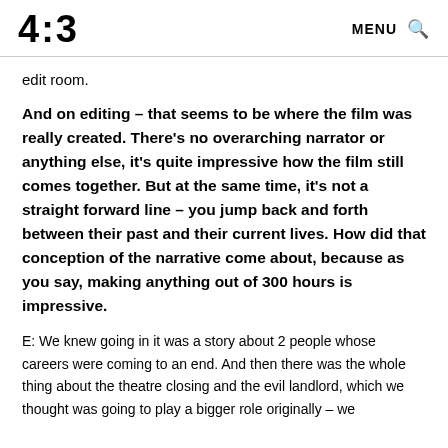4:3  MENU 🔍
edit room.
And on editing – that seems to be where the film was really created. There's no overarching narrator or anything else, it's quite impressive how the film still comes together. But at the same time, it's not a straight forward line – you jump back and forth between their past and their current lives. How did that conception of the narrative come about, because as you say, making anything out of 300 hours is impressive.
E: We knew going in it was a story about 2 people whose careers were coming to an end. And then there was the whole thing about the theatre closing and the evil landlord, which we thought was going to play a bigger role originally – we